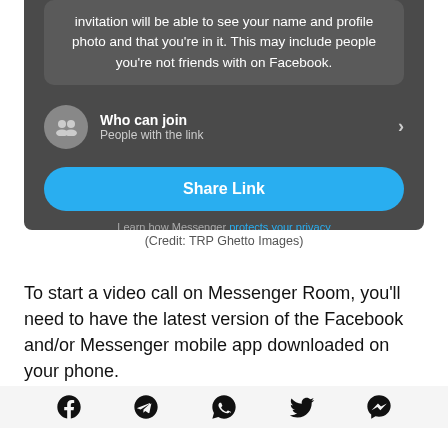[Figure (screenshot): Facebook Messenger Room screenshot showing: text about invitation visibility, 'Who can join / People with the link' row with icon and chevron, a blue 'Share Link' button, and 'Learn how Messenger protects your privacy' footer text]
(Credit: TRP Ghetto Images)
To start a video call on Messenger Room, you'll need to have the latest version of the Facebook and/or Messenger mobile app downloaded on your phone.
[Figure (infographic): Row of five social media sharing icons: Facebook, Telegram, WhatsApp, Twitter, Messenger]